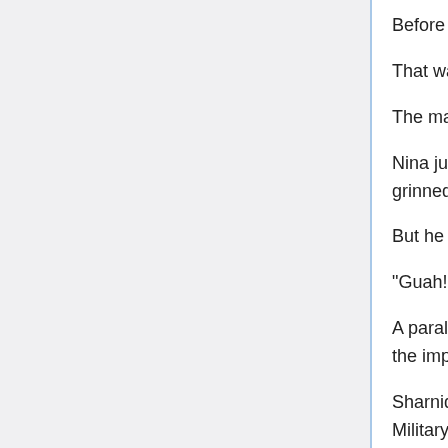Before the dust had time to settle, they charged again.
That was how it appeared.
The man moved, and Nina moved forward as well.
Nina jumped, taking a stance for a reckless strike from above. The man grinned at this completely-unguarded attack as he prepared to counter.
But he was suddenly hit in the back.
"Guah!"
A paralyzing sensation shot through his body at the same time as he felt the impact. It was a paralyzing bullet.
Sharnid was the one who shot the bullet. He had dealt with the two other Military Artists and used a free moment to shoot a bullet into their boss's unguarded back.